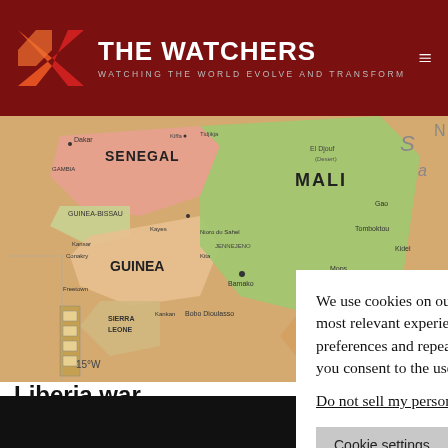THE WATCHERS — WATCHING THE WORLD EVOLVE AND TRANSFORM
[Figure (map): Physical map of West Africa showing countries including Senegal, Guinea-Bissau, Guinea, Sierra Leone, Mali, Burkina Faso with city labels and geographic features]
We use cookies on our website to give you the most relevant experience by remembering your preferences and repeat visits. By clicking “Accept”, you consent to the use of ALL the cookies.
Do not sell my personal information.
Liberia war...